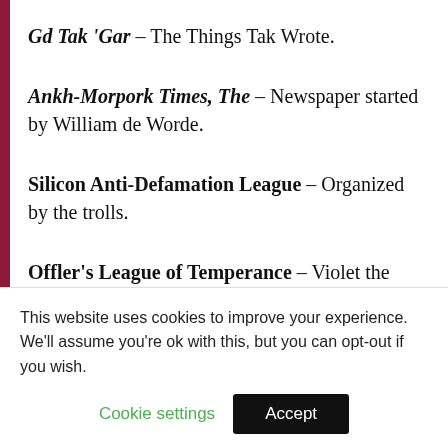Gd Tak 'Gar – The Things Tak Wrote.
Ankh-Morpork Times, The – Newspaper started by William de Worde.
Silicon Anti-Defamation League – Organized by the trolls.
Offler's League of Temperance – Violet the
This website uses cookies to improve your experience. We'll assume you're ok with this, but you can opt-out if you wish.
Cookie settings   Accept